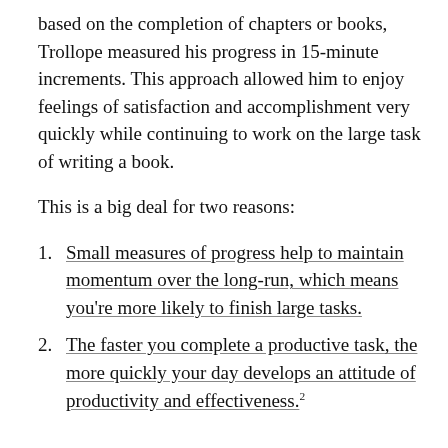based on the completion of chapters or books, Trollope measured his progress in 15-minute increments. This approach allowed him to enjoy feelings of satisfaction and accomplishment very quickly while continuing to work on the large task of writing a book.
This is a big deal for two reasons:
Small measures of progress help to maintain momentum over the long-run, which means you're more likely to finish large tasks.
The faster you complete a productive task, the more quickly your day develops an attitude of productivity and effectiveness.